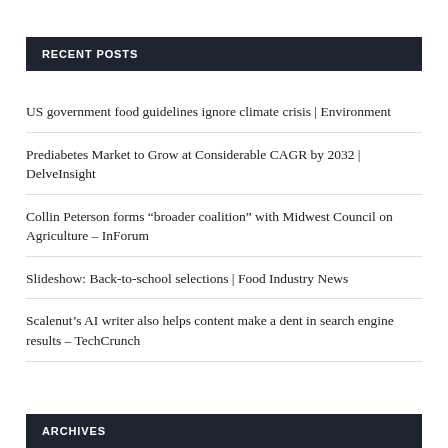RECENT POSTS
US government food guidelines ignore climate crisis | Environment
Prediabetes Market to Grow at Considerable CAGR by 2032 | DelveInsight
Collin Peterson forms “broader coalition” with Midwest Council on Agriculture – InForum
Slideshow: Back-to-school selections | Food Industry News
Scalenut’s AI writer also helps content make a dent in search engine results – TechCrunch
ARCHIVES